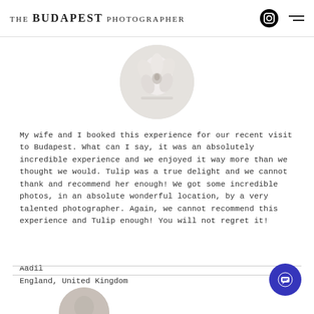The Budapest Photographer
[Figure (photo): Circular avatar photo showing white orchid flowers on a light background]
My wife and I booked this experience for our recent visit to Budapest. What can I say, it was an absolutely incredible experience and we enjoyed it way more than we thought we would. Tulip was a true delight and we cannot thank and recommend her enough! We got some incredible photos, in an absolute wonderful location, by a very talented photographer. Again, we cannot recommend this experience and Tulip enough! You will not regret it!
Aadil
England, United Kingdom
[Figure (photo): Partial circular avatar photo at the bottom of the page, cropped]